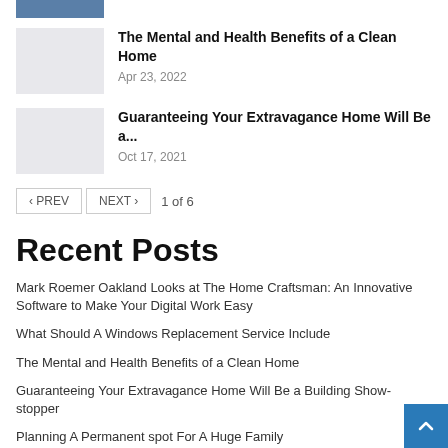[Figure (photo): Partial image visible at top, cropped]
The Mental and Health Benefits of a Clean Home — Apr 23, 2022
Guaranteeing Your Extravagance Home Will Be a... — Oct 17, 2021
< PREV  NEXT >  1 of 6
Recent Posts
Mark Roemer Oakland Looks at The Home Craftsman: An Innovative Software to Make Your Digital Work Easy
What Should A Windows Replacement Service Include
The Mental and Health Benefits of a Clean Home
Guaranteeing Your Extravagance Home Will Be a Building Show-stopper
Planning A Permanent spot For A Huge Family